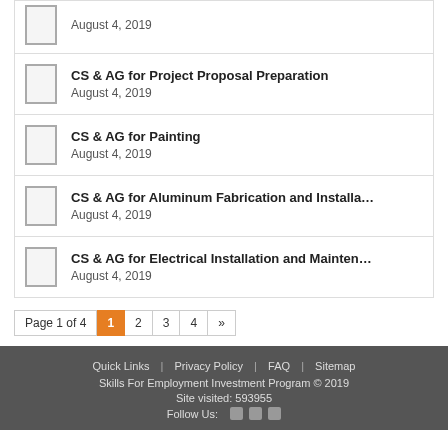CS & AG for Project Proposal Preparation
August 4, 2019
CS & AG for Painting
August 4, 2019
CS & AG for Aluminum Fabrication and Installa…
August 4, 2019
CS & AG for Electrical Installation and Mainten…
August 4, 2019
Page 1 of 4  1  2  3  4  »
Quick Links | Privacy Policy | FAQ | Sitemap
Skills For Employment Investment Program © 2019
Site visited: 593955
Follow Us: